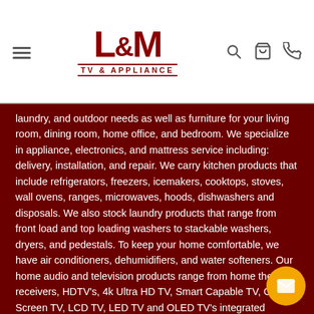[Figure (logo): L&M TV & Appliance logo with hamburger menu icon on left and search, cart, phone icons on right in website header]
laundry, and outdoor needs as well as furniture for your living room, dining room, home office, and bedroom. We specialize in appliance, electronics, and mattress service including: delivery, installation, and repair. We carry kitchen products that include refrigerators, freezers, icemakers, cooktops, stoves, wall ovens, ranges, microwaves, hoods, dishwashers and disposals. We also stock laundry products that range from front load and top loading washers to stackable washers, dryers, and pedestals. To keep your home comfortable, we have air conditioners, dehumidifiers, and water softeners. Our home audio and television products range from home theater receivers, HDTV's, 4k Ultra HD TV, Smart Capable TV, Curved Screen TV, LCD TV, LED TV and OLED TV's integrated amplifiers, speakers and sound bars, Blu-Ray players, headphones and more. In addition, we carry mattress sets, innerspring, hybrid, and gel memory foam mattresses, box springs, and adjustable foundations. We also have mattress accessories such as pillows, mattress covers, and mattress protectors. Some of our f... brands are GE, Whirlpool, LG, Hotpoint, Maytag, Frigidaire, Ama... Electrolux Laundry, Serta, LG Electronics, and more. We proudly serve